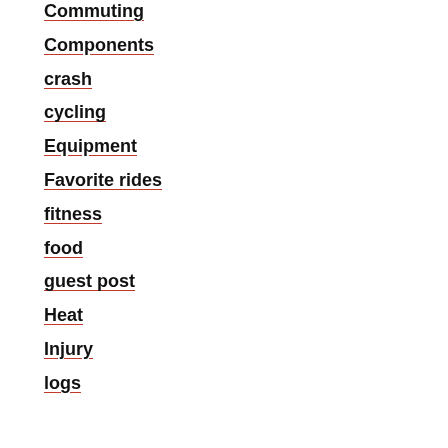Commuting
Components
crash
cycling
Equipment
Favorite rides
fitness
food
guest post
Heat
Injury
logs